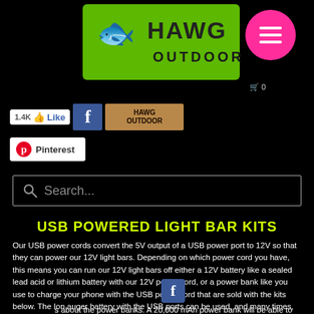[Figure (logo): Hawg Outdoor logo on green background with fish skeleton graphic, and pink hamburger menu button]
[Figure (infographic): Facebook Like button showing 1.4K likes, Facebook icon, and Hawg Outdoor Facebook page badge]
[Figure (infographic): Pinterest button]
[Figure (screenshot): Search bar with magnifying glass and placeholder text 'Search...']
USB POWERED LIGHT BAR KITS
Our USB power cords convert the 5V output of a USB power port to 12V so that they can power our 12V light bars. Depending on which power cord you have, this means you can run our 12V light bars off either a 12V battery like a sealed lead acid or lithium battery with our 12V power cord, or a power bank like you use to charge your phone with the USB power cord that are sold with the kits below. The Ion auger battery with the USB ports can be used, and many times, even a r battery that has USB ports will also work.
s about the power banks. A 20,000 mAh power bank will be able to power a dual light bar for 6 or more hours. We have been able to get as many as 10 hours. The bank needs to be the power